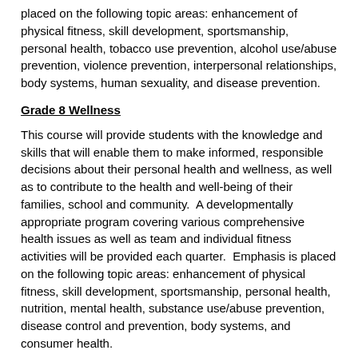placed on the following topic areas: enhancement of physical fitness, skill development, sportsmanship, personal health, tobacco use prevention, alcohol use/abuse prevention, violence prevention, interpersonal relationships, body systems, human sexuality, and disease prevention.
Grade 8 Wellness
This course will provide students with the knowledge and skills that will enable them to make informed, responsible decisions about their personal health and wellness, as well as to contribute to the health and well-being of their families, school and community.  A developmentally appropriate program covering various comprehensive health issues as well as team and individual fitness activities will be provided each quarter.  Emphasis is placed on the following topic areas: enhancement of physical fitness, skill development, sportsmanship, personal health, nutrition, mental health, substance use/abuse prevention, disease control and prevention, body systems, and consumer health.
WELLNESS EDUCATION – Gr 9 – 009, Gr 10 – 022, Gr 11 – 018, Gr 12-019
This course will provide students with the knowledge and skills that will enable them to make informed, responsible decisions about their personal